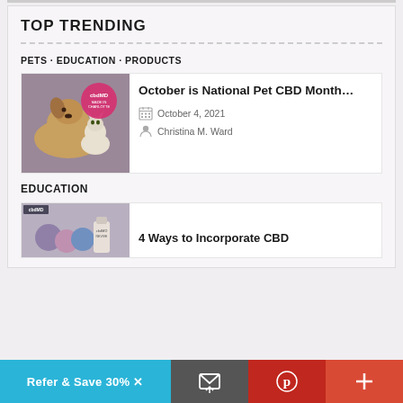TOP TRENDING
PETS · EDUCATION · PRODUCTS
[Figure (photo): Card with image of a dog and cat sitting together next to a pink cbdMD badge, linked to article 'October is National Pet CBD Month...' dated October 4, 2021 by Christina M. Ward]
EDUCATION
[Figure (photo): Partial card with image of colorful bath bombs and a cbdMD Revive bottle, linked to article '4 Ways to Incorporate CBD']
Refer & Save 30% ✕
[Figure (illustration): Email/share icon in white on dark grey background]
[Figure (logo): Pinterest logo P in white circle on red background]
[Figure (illustration): Plus sign icon in white on red-orange background]